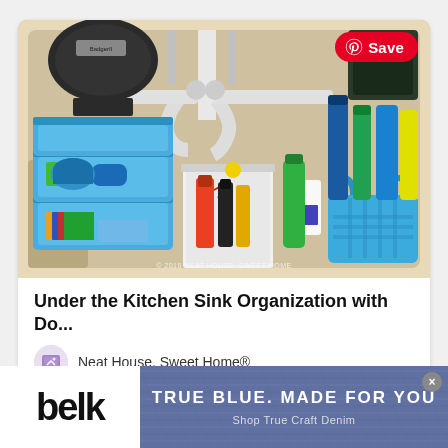[Figure (photo): Organized under-kitchen-sink cabinet with blue plastic storage bins/drawers on the left, white bin with spray bottles in the center, and blue basket with cleaning supplies on the right. Pipes visible overhead. Watermark reads '© 2016 NEAT HOUSE. SWEET HOME'. Red Pinterest 'Save' button in top right corner.]
Under the Kitchen Sink Organization with Do...
Neat House. Sweet Home®
[Figure (screenshot): Belk advertisement banner: white left section with 'belk' logo in black, right section shows denim texture background with text 'TRUE BLUE. MADE FOR YOU' and 'Shop True Craft Denim'. Close/dismiss button (×) in top right.]